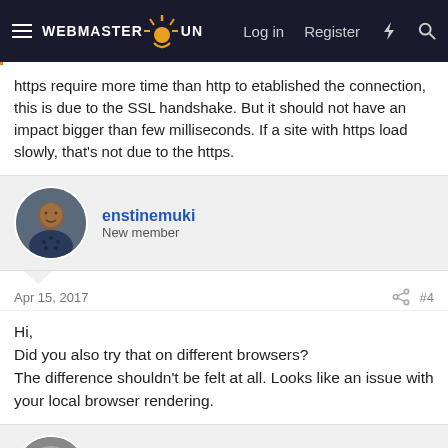WEBMASTER SUN — Log in  Register
https require more time than http to etablished the connection, this is due to the SSL handshake. But it should not have an impact bigger than few milliseconds. If a site with https load slowly, that's not due to the https.
enstinemuki
New member
Apr 15, 2017  #4
Hi,
Did you also try that on different browsers?
The difference shouldn't be felt at all. Looks like an issue with your local browser rendering.
SenseiSteve
Active member